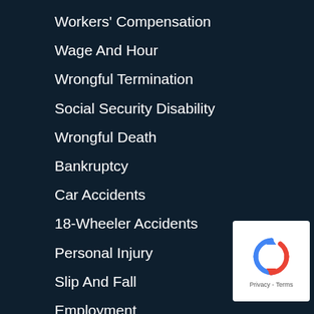Workers' Compensation
Wage And Hour
Wrongful Termination
Social Security Disability
Wrongful Death
Bankruptcy
Car Accidents
18-Wheeler Accidents
Personal Injury
Slip And Fall
Employment
Construction Accidents
Spinal Injury
[Figure (logo): Google reCAPTCHA badge with circular arrow icon and Privacy - Terms text]